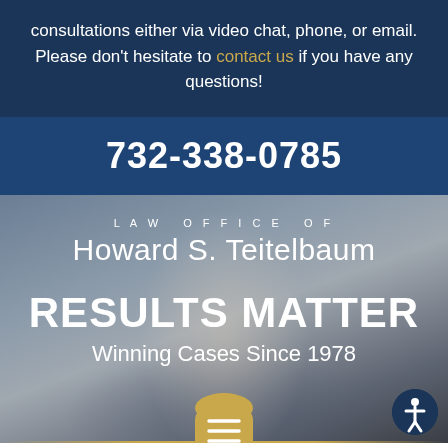consultations either via video chat, phone, or email. Please don’t hesitate to contact us if you have any questions!
732-338-0785
[Figure (photo): Hero section with blurred background photo of attorney, showing law office branding and tagline]
LAW OFFICE OF Howard S. Teitelbaum
RESULTS MATTER
Winning Cases Since 1978